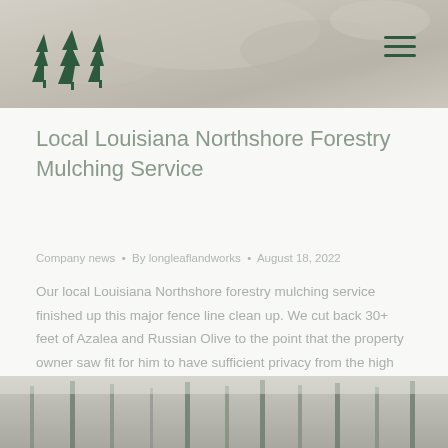[Figure (photo): Forest/rocky landscape background header image with muted gray-green tones]
[Figure (logo): Three green pine tree silhouette logo icons]
Local Louisiana Northshore Forestry Mulching Service
Company news • By longleaflandworks • August 18, 2022
Our local Louisiana Northshore forestry mulching service finished up this major fence line clean up. We cut back 30+ feet of Azalea and Russian Olive to the point that the property owner saw fit for him to have sufficient privacy from the high way. Our forestry mulching equipment was the right choice for this project...
[Figure (photo): Forest with tall pine trees, misty gray-green tones, bottom of page]